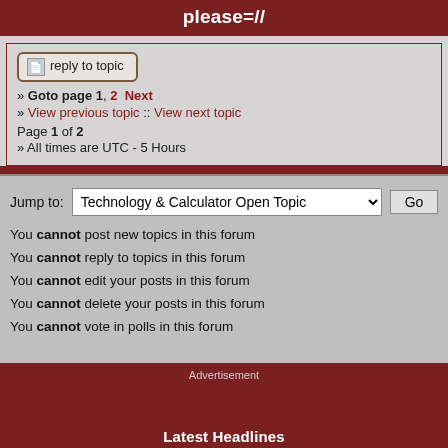please=//
reply to topic
» Goto page 1, 2  Next
» View previous topic :: View next topic
Page 1 of 2
» All times are UTC - 5 Hours
Jump to:  Technology & Calculator Open Topic  Go
You cannot post new topics in this forum
You cannot reply to topics in this forum
You cannot edit your posts in this forum
You cannot delete your posts in this forum
You cannot vote in polls in this forum
[Figure (other): Advertisement section with dark red background]
Latest Headlines